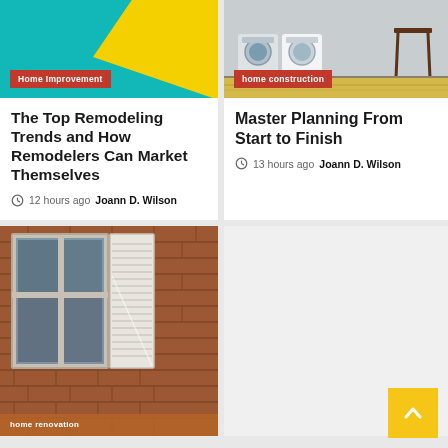[Figure (photo): Abstract teal and yellow background image with chat bubble shapes]
Home Improvement
The Top Remodeling Trends and How Remodelers Can Market Themselves
12 hours ago  Joann D. Wilson
[Figure (photo): Laundry room with washer, dryer, and side table on patterned yellow floor]
home construction
Master Planning From Start to Finish
13 hours ago  Joann D. Wilson
[Figure (photo): Brick house exterior with white window frame, shutters, and bare trees reflected in glass]